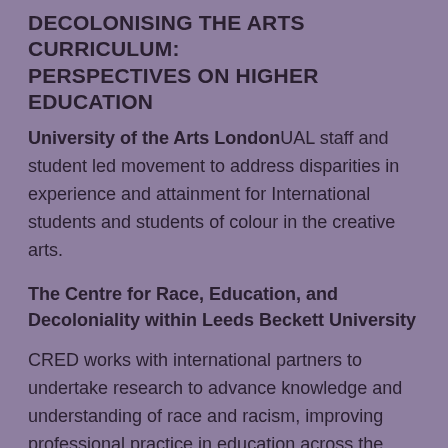DECOLONISING THE ARTS CURRICULUM: PERSPECTIVES ON HIGHER EDUCATION
University of the Arts London UAL staff and student led movement to address disparities in experience and attainment for International students and students of colour in the creative arts.
The Centre for Race, Education, and Decoloniality within Leeds Beckett University
CRED works with international partners to undertake research to advance knowledge and understanding of race and racism, improving professional practice in education across the